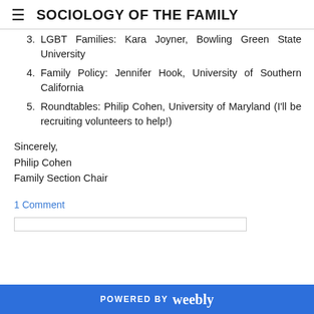SOCIOLOGY OF THE FAMILY
3. LGBT Families: Kara Joyner, Bowling Green State University
4. Family Policy: Jennifer Hook, University of Southern California
5. Roundtables: Philip Cohen, University of Maryland (I'll be recruiting volunteers to help!)
Sincerely,
Philip Cohen
Family Section Chair
1 Comment
POWERED BY weebly